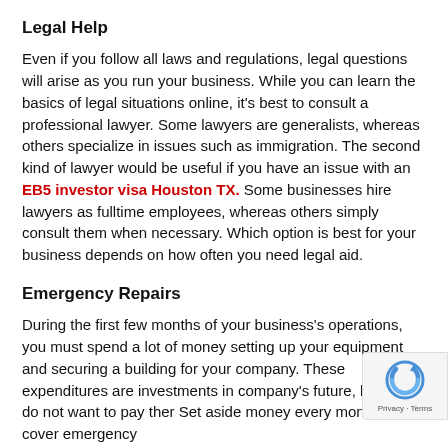Legal Help
Even if you follow all laws and regulations, legal questions will arise as you run your business. While you can learn the basics of legal situations online, it's best to consult a professional lawyer. Some lawyers are generalists, whereas others specialize in issues such as immigration. The second kind of lawyer would be useful if you have an issue with an EB5 investor visa Houston TX. Some businesses hire lawyers as fulltime employees, whereas others simply consult them when necessary. Which option is best for your business depends on how often you need legal aid.
Emergency Repairs
During the first few months of your business's operations, you must spend a lot of money setting up your equipment and securing a building for your company. These expenditures are investments in company's future, but you do not want to pay them Set aside money every month to cover emergency